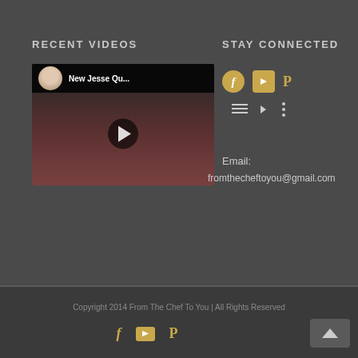RECENT VIDEOS
STAY CONNECTED
[Figure (screenshot): YouTube video thumbnail showing 'New Jesse Qu...' with a chef avatar and play button overlay, red food items in background]
Email: fromthecheftoyou@gmail.com
Copyright 2014 From The Chef To You | All Rights Reserved
[Figure (other): Footer social icons: Facebook, YouTube, Pinterest, and back-to-top arrow button]